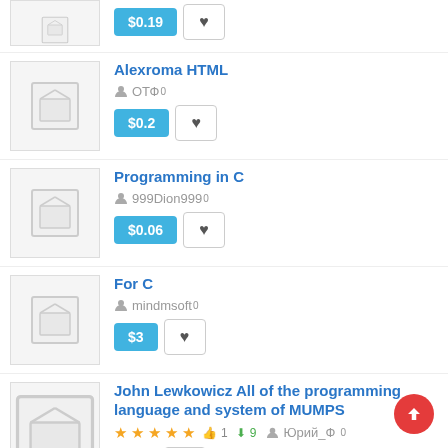[Figure (screenshot): Partial top item with price button $0.19 and heart button]
Alexroma HTML
ОТФ 0
$0.2
Programming in C
999Dion999 0
$0.06
For C
mindmsoft 0
$3
John Lewkowicz All of the programming language and system of MUMPS
★★★★★ 👍 1 ⬇ 9 Юрий_Ф 0
$1